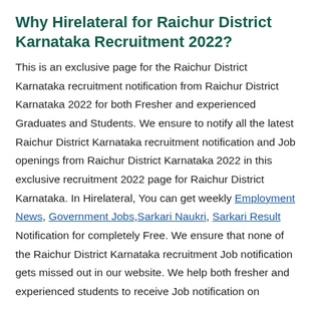Why Hirelateral for Raichur District Karnataka Recruitment 2022?
This is an exclusive page for the Raichur District Karnataka recruitment notification from Raichur District Karnataka 2022 for both Fresher and experienced Graduates and Students. We ensure to notify all the latest Raichur District Karnataka recruitment notification and Job openings from Raichur District Karnataka 2022 in this exclusive recruitment 2022 page for Raichur District Karnataka. In Hirelateral, You can get weekly Employment News, Government Jobs, Sarkari Naukri, Sarkari Result Notification for completely Free. We ensure that none of the Raichur District Karnataka recruitment Job notification gets missed out in our website. We help both fresher and experienced students to receive Job notification on